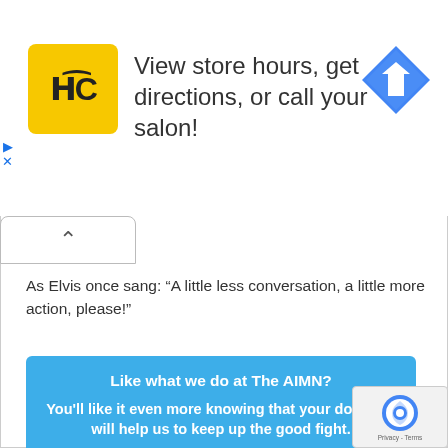[Figure (screenshot): Ad banner with HC (Hair Club) logo and navigation icon showing 'View store hours, get directions, or call your salon!' with a blue diamond direction icon on the right, and play/close controls on the left.]
As Elvis once sang: “A little less conversation, a little more action, please!”
Like what we do at The AIMN?

You’ll like it even more knowing that your donation will help us to keep up the good fight.

Chuck in a few bucks and see just how far it